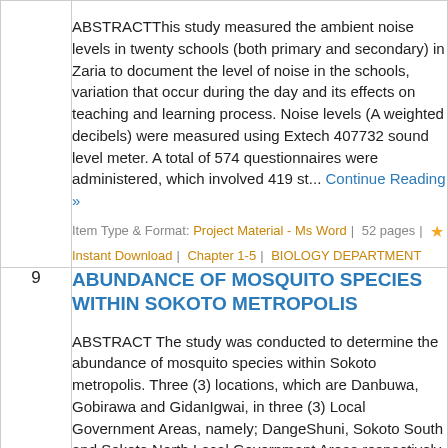ABSTRACTThis study measured the ambient noise levels in twenty schools (both primary and secondary) in Zaria to document the level of noise in the schools, variation that occur during the day and its effects on teaching and learning process. Noise levels (A weighted decibels) were measured using Extech 407732 sound level meter. A total of 574 questionnaires were administered, which involved 419 st... Continue Reading »
Item Type & Format: Project Material - Ms Word | 52 pages | ★ Instant Download | Chapter 1-5 | BIOLOGY DEPARTMENT
ABUNDANCE OF MOSQUITO SPECIES WITHIN SOKOTO METROPOLIS
ABSTRACT The study was conducted to determine the abundance of mosquito species within Sokoto metropolis. Three (3) locations, which are Danbuwa, Gobirawa and GidanIgwai, in three (3) Local Government Areas, namely; DangeShuni, Sokoto South and Sokoto North Local Government Areas respectively, were sampled out of the five (5) Local Government Areas that make Sokoto Metropolis